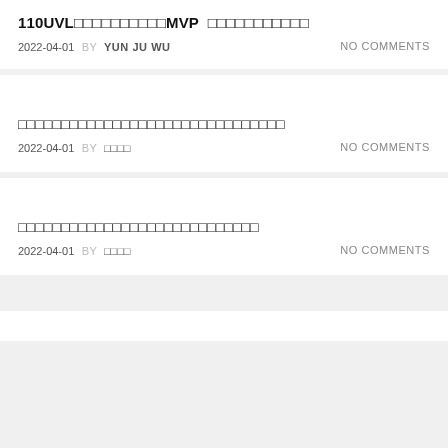110UVL□□□□□□□□□□MVP　□□□□□□□□□□□
2022-04-01 BY YUN JU WU　NO COMMENTS
□□□□□□□□□□□□□□□□□□□□□□□□□□□□□□
2022-04-01 BY □□□□　NO COMMENTS
□□□□□□□□□□□□□□□□□□□□□□□□□□□□
2022-04-01 BY □□□□　NO COMMENTS